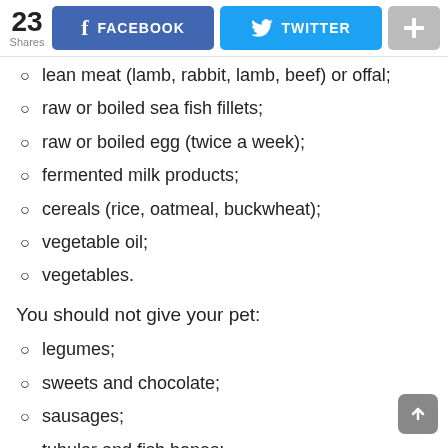[Figure (screenshot): Social sharing bar with 23 shares count, Facebook button (blue), Twitter button (cyan/blue), and a gray plus button]
lean meat (lamb, rabbit, lamb, beef) or offal;
raw or boiled sea fish fillets;
raw or boiled egg (twice a week);
fermented milk products;
cereals (rice, oatmeal, buckwheat);
vegetable oil;
vegetables.
You should not give your pet:
legumes;
sweets and chocolate;
sausages;
tubular and fish bones;